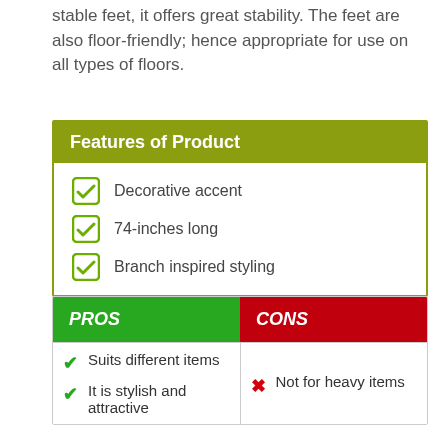stable feet, it offers great stability. The feet are also floor-friendly; hence appropriate for use on all types of floors.
Features of Product
Decorative accent
74-inches long
Branch inspired styling
| PROS | CONS |
| --- | --- |
| ✔ Suits different items
✔ It is stylish and attractive | ✗ Not for heavy items |